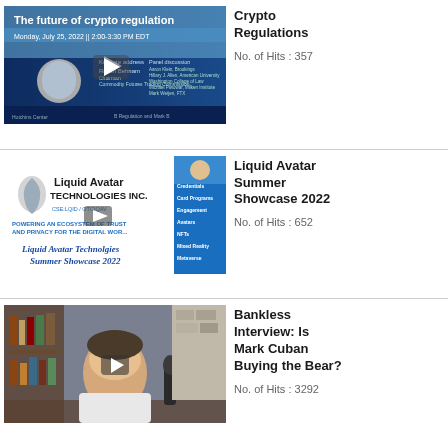[Figure (screenshot): Thumbnail for 'The future of crypto regulation' webinar — dark blue background with event title, date Monday July 25 2022 2:00-3:30 PM EDT, speaker photos and logos for Brookings and Center on Regulation and Markets]
Crypto Regulations
No. of Hits : 357
[Figure (screenshot): Thumbnail for Liquid Avatar Technologies Inc. Summer Showcase 2022 — white left panel with logo and italic script text, blue right panel listing Digital Identity, Credentials, Card Programs, Engagement, Avatars, NFTs, Mixed Reality, Metaverse]
Liquid Avatar Summer Showcase 2022
No. of Hits : 652
[Figure (screenshot): Thumbnail for Bankless Interview: Is Mark Cuban Buying the Bear? — photo of man in white t-shirt sitting in office with bookshelf, microphone visible]
Bankless Interview: Is Mark Cuban Buying the Bear?
No. of Hits : 3292